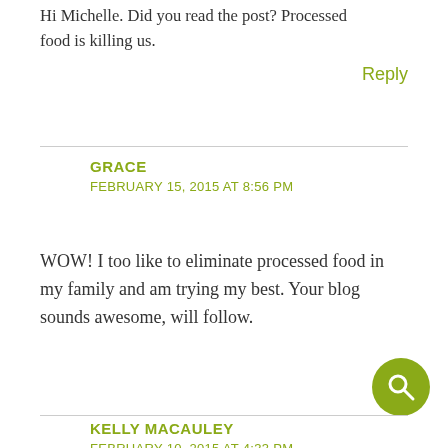Hi Michelle. Did you read the post? Processed food is killing us.
Reply
GRACE
FEBRUARY 15, 2015 AT 8:56 PM
WOW! I too like to eliminate processed food in my family and am trying my best. Your blog sounds awesome, will follow.
Reply
KELLY MACAULEY
FEBRUARY 10, 2015 AT 4:33 PM